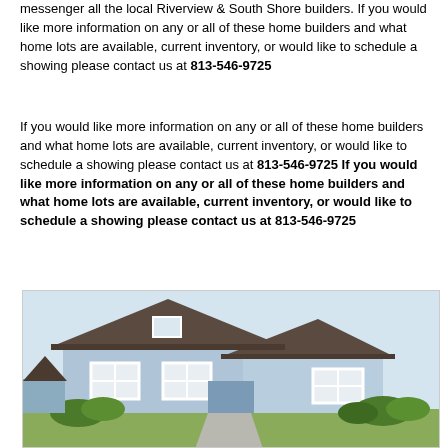messenger all the local Riverview & South Shore builders. If you would like more information on any or all of these home builders and what home lots are available, current inventory, or would like to schedule a showing please contact us at 813-546-9725
If you would like more information on any or all of these home builders and what home lots are available, current inventory, or would like to schedule a showing please contact us at 813-546-9725 If you would like more information on any or all of these home builders and what home lots are available, current inventory, or would like to schedule a showing please contact us at 813-546-9725
[Figure (photo): Photo of a single-story light blue house with dark brown roof, white trim windows, and green bushes in front]